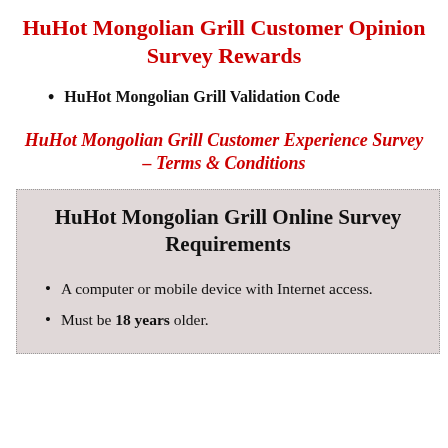HuHot Mongolian Grill Customer Opinion Survey Rewards
HuHot Mongolian Grill Validation Code
HuHot Mongolian Grill Customer Experience Survey – Terms & Conditions
HuHot Mongolian Grill Online Survey Requirements
A computer or mobile device with Internet access.
Must be 18 years older.